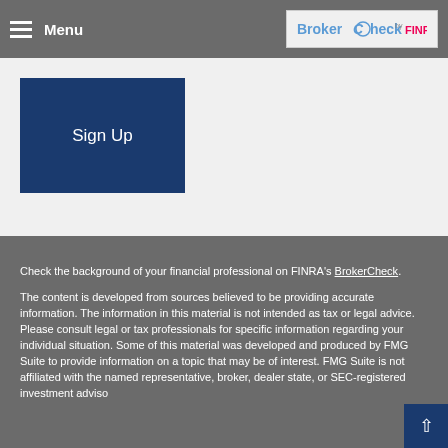Menu | BrokerCheck by FINRA
Sign Up
Check the background of your financial professional on FINRA's BrokerCheck.
The content is developed from sources believed to be providing accurate information. The information in this material is not intended as tax or legal advice. Please consult legal or tax professionals for specific information regarding your individual situation. Some of this material was developed and produced by FMG Suite to provide information on a topic that may be of interest. FMG Suite is not affiliated with the named representative, broker, dealer, state, or SEC-registered investment advisor